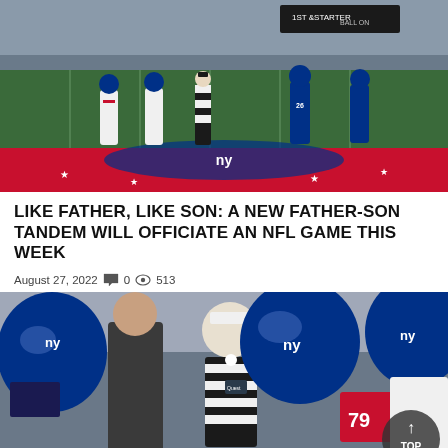[Figure (photo): NFL coin toss scene on field with players from Dallas Cowboys (white uniforms) and New York Giants (blue uniforms, #26 Barkley visible) along with a referee in black-and-white stripes, standing on the Giants end zone logo.]
LIKE FATHER, LIKE SON: A NEW FATHER-SON TANDEM WILL OFFICIATE AN NFL GAME THIS WEEK
August 27, 2022   💬 0   👁 513
[Figure (photo): NFL referee in white cap and black-and-white striped shirt standing among New York Giants players in blue helmets during a game or practice.]